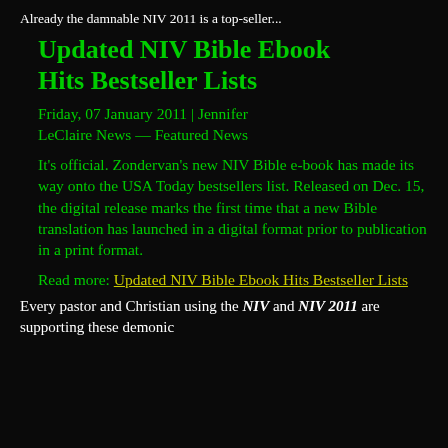Already the damnable NIV 2011 is a top-seller...
Updated NIV Bible Ebook Hits Bestseller Lists
Friday, 07 January 2011 | Jennifer LeClaire News — Featured News
It's official. Zondervan's new NIV Bible e-book has made its way onto the USA Today bestsellers list. Released on Dec. 15, the digital release marks the first time that a new Bible translation has launched in a digital format prior to publication in a print format.
Read more: Updated NIV Bible Ebook Hits Bestseller Lists
Every pastor and Christian using the NIV and NIV 2011 are supporting these demonic